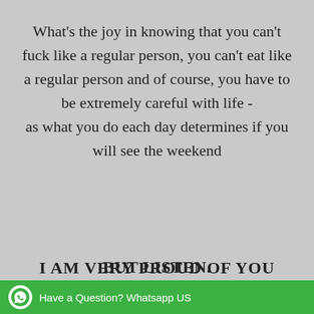What's the joy in knowing that you can't fuck like a regular person, you can't eat like a regular person and of course, you have to be extremely careful with life - as what you do each day determines if you will see the weekend
BUT LISTEN.
I AM VERY PROUD OF YOU
Have a Question? Whatsapp US